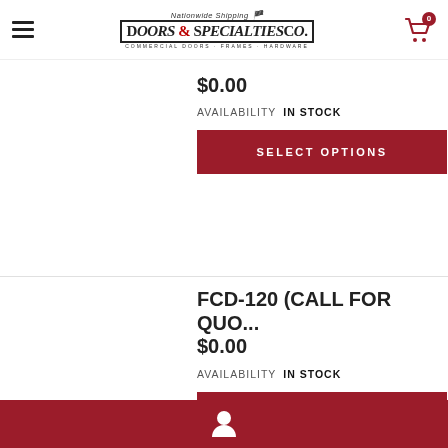Doors & Specialties Co. — Nationwide Shipping — Commercial Doors · Frames · Hardware
$0.00
AVAILABILITY   IN STOCK
SELECT OPTIONS
FCD-120 (CALL FOR QUO...
$0.00
AVAILABILITY   IN STOCK
SELECT OPTIONS